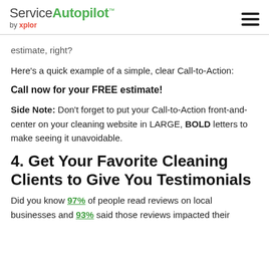Service Autopilot by xplor
estimate, right?
Here's a quick example of a simple, clear Call-to-Action:
Call now for your FREE estimate!
Side Note: Don't forget to put your Call-to-Action front-and-center on your cleaning website in LARGE, BOLD letters to make seeing it unavoidable.
4. Get Your Favorite Cleaning Clients to Give You Testimonials
Did you know 97% of people read reviews on local businesses and 93% said those reviews impacted their